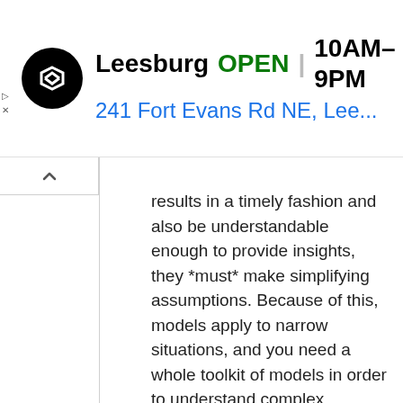[Figure (screenshot): Advertisement banner for a store in Leesburg showing OPEN status, hours 10AM-9PM, and address 241 Fort Evans Rd NE, Lee...]
results in a timely fashion and also be understandable enough to provide insights, they *must* make simplifying assumptions. Because of this, models apply to narrow situations, and you need a whole toolkit of models in order to understand complex situations. For example, Keynesian models for short term and Classical models for the long term.
I don't think Curtis nor you have made any proposals of a better way for social sciences to test theories.
"It is not useful in understanding what is going on in an underlying sense, it can only treat things as a game where the players (be they nations, people